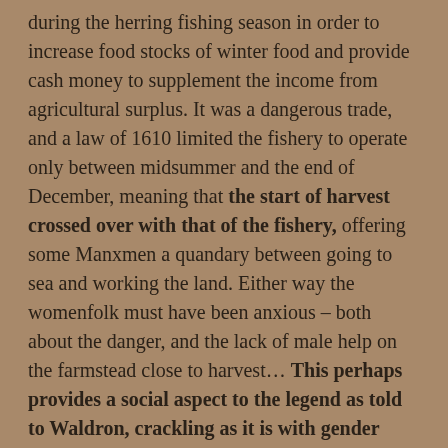during the herring fishing season in order to increase food stocks of winter food and provide cash money to supplement the income from agricultural surplus. It was a dangerous trade, and a law of 1610 limited the fishery to operate only between midsummer and the end of December, meaning that the start of harvest crossed over with that of the fishery, offering some Manxmen a quandary between going to sea and working the land. Either way the womenfolk must have been anxious – both about the danger, and the lack of male help on the farmstead close to harvest... This perhaps provides a social aspect to the legend as told to Waldron, crackling as it is with gender politics.
So who might this 'enchantress' or 'Fair Chooser' have been? She appears in the legend and by her name to operate as a psychopomp or conductor of souls of the